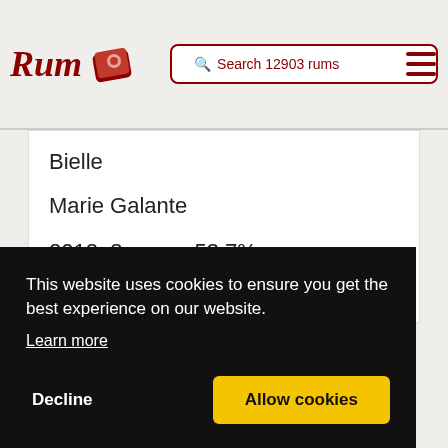Rum - Search 12903 rums
Bielle
Marie Galante
2012  8 years  53,7%
🛒 -
This website uses cookies to ensure you get the best experience on our website. Learn more
Decline
Allow cookies